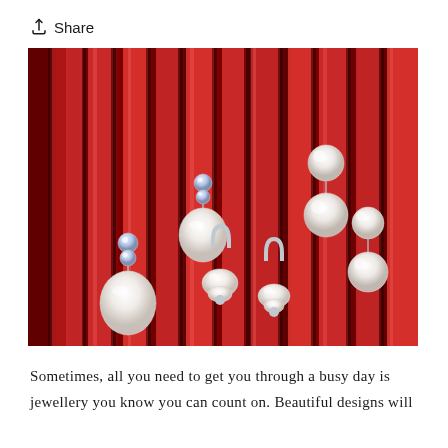Share
[Figure (photo): Pearl and crystal jewellery pieces arranged on a red velvet background. Includes drop earrings with crystals and baroque pearls, double pearl stud earrings, and tulip-shaped pearl pendants with silver clasps.]
Sometimes, all you need to get you through a busy day is jewellery you know you can count on. Beautiful designs will